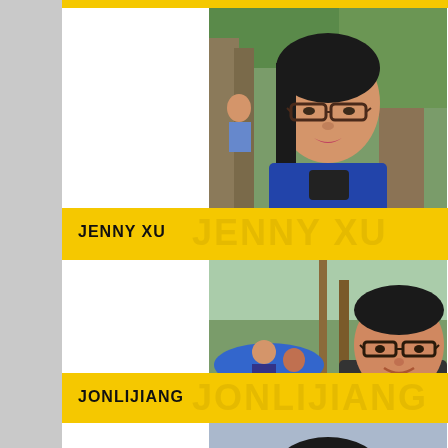[Figure (photo): Portrait photo of a woman with glasses standing near trees outdoors]
JENNY XU
[Figure (photo): Portrait photo of a man with glasses outdoors with blue umbrella visible in background]
JONLIJIANG
[Figure (photo): Portrait photo of a person with short dark hair outdoors near water and mountains]